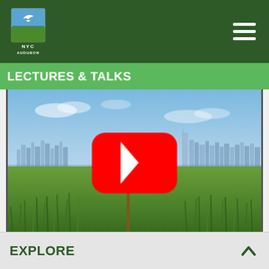NYC Audubon
LECTURES & TALKS
[Figure (screenshot): Video thumbnail showing a marsh/wetland scene with NYC skyline in the background and a bird banding pole with a red-tailed hawk. A YouTube play button is overlaid in the center.]
EXPLORE